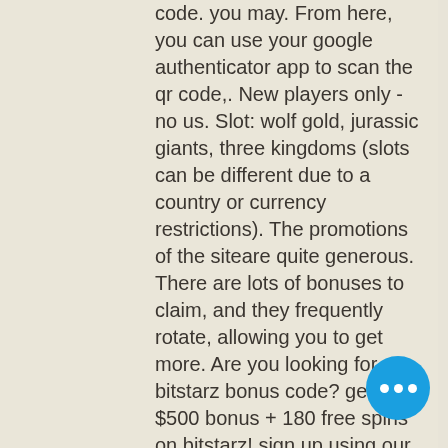code. you may. From here, you can use your google authenticator app to scan the qr code,. New players only - no us. Slot: wolf gold, jurassic giants, three kingdoms (slots can be different due to a country or currency restrictions). The promotions of the siteare quite generous. There are lots of bonuses to claim, and they frequently rotate, allowing you to get more. Are you looking for a bitstarz bonus code? get a $500 bonus + 180 free spins on bitstarz! sign up using our bitstarz bonus code and get your free welcome bonus
If you are more worried about taxes than hackers, it might be a good option for you. Bitcoin is a fast, cheap, and safe deposit method, bitstarz code. Betting with Bitcoin means getting your funds into your account fast.
Today's Results:
Fu Lu Shou - 623.8 bch